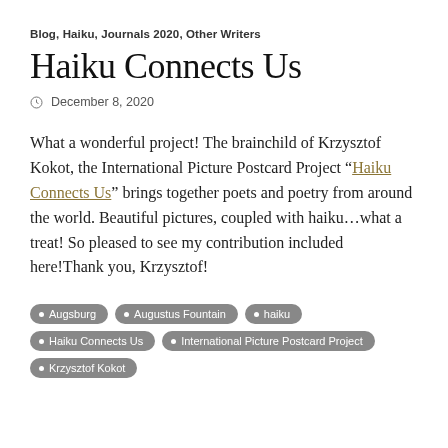Blog, Haiku, Journals 2020, Other Writers
Haiku Connects Us
December 8, 2020
What a wonderful project! The brainchild of Krzysztof Kokot, the International Picture Postcard Project “Haiku Connects Us” brings together poets and poetry from around the world. Beautiful pictures, coupled with haiku…what a treat! So pleased to see my contribution included here!Thank you, Krzysztof!
Augsburg
Augustus Fountain
haiku
Haiku Connects Us
International Picture Postcard Project
Krzysztof Kokot